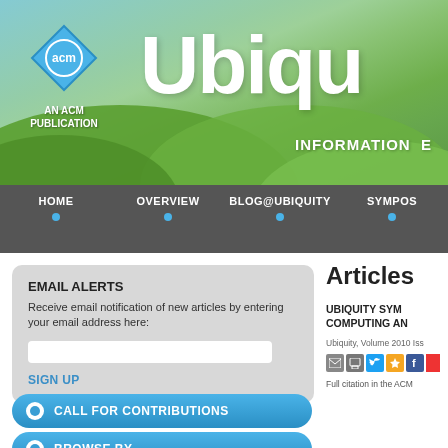[Figure (screenshot): ACM Ubiquity publication website banner with green hills and sky background, ACM diamond logo, Ubiquity title text, and tagline INFORMATION EVERYWHERE]
HOME   OVERVIEW   BLOG@UBIQUITY   SYMPOS
Articles
EMAIL ALERTS
Receive email notification of new articles by entering your email address here:
SIGN UP
CALL FOR CONTRIBUTIONS
BROWSE BY...
UBIQUITY SYMPOSIUM: COMPUTING AND...
Ubiquity, Volume 2010 Iss...
Full citation in the ACM...